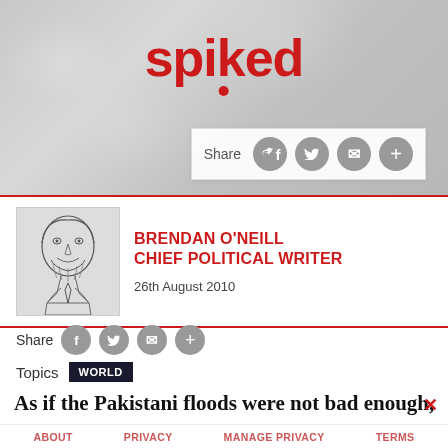spiked
Share
BRENDAN O'NEILL
CHIEF POLITICAL WRITER
26th August 2010
Share
Topics  WORLD
As if the Pakistani floods were not bad enough,
there is now an invasion of ghoulish
ABOUT   PRIVACY   MANAGE PRIVACY   TERMS